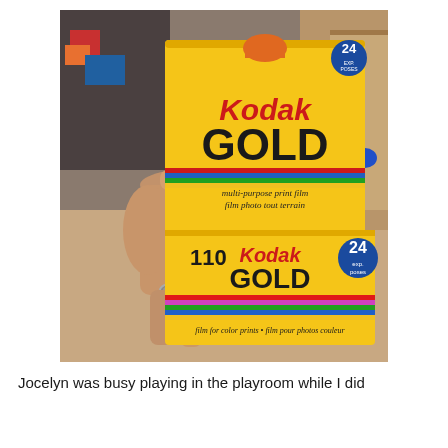[Figure (photo): A hand holding two Kodak Gold film boxes (110 format, 24 exposures). The boxes are yellow with red and black text reading 'Kodak GOLD', 'multi-purpose print film / film photo tout terrain', '110', '24 exp. poses', and 'film for color prints • film pour photos couleur'. A ring is visible on one finger. Background shows a cardboard box and other items.]
Jocelyn was busy playing in the playroom while I did